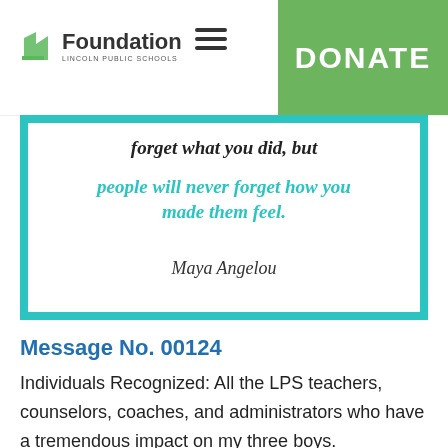Foundation Lincoln Public Schools | DONATE
[Figure (illustration): Inspirational quote card with teal border: 'forget what you did, but people will never forget how you made them feel. — Maya Angelou']
Message No. 00124
Individuals Recognized: All the LPS teachers, counselors, coaches, and administrators who have a tremendous impact on my three boys.
Schools: Zeman, Pound, Southeast